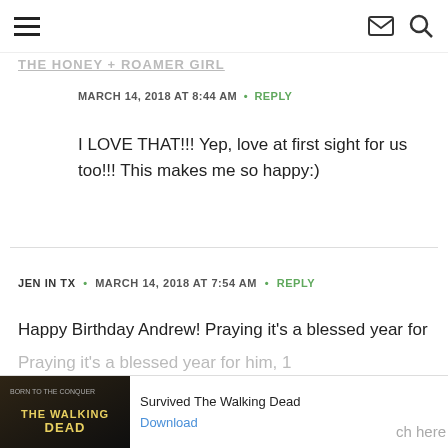[hamburger menu] [mail icon] [search icon]
THE HONEY + ROAMER GIRL
MARCH 14, 2018 AT 8:44 AM • REPLY
I LOVE THAT!!! Yep, love at first sight for us too!!! This makes me so happy:)
JEN IN TX • MARCH 14, 2018 AT 7:54 AM • REPLY
Happy Birthday Andrew! Praying it's a blessed year for
[Figure (screenshot): Advertisement bar at bottom: Ad label with Walking Dead game image, 'Survived The Walking Dead', Download link, and 'ch here' text partially visible]